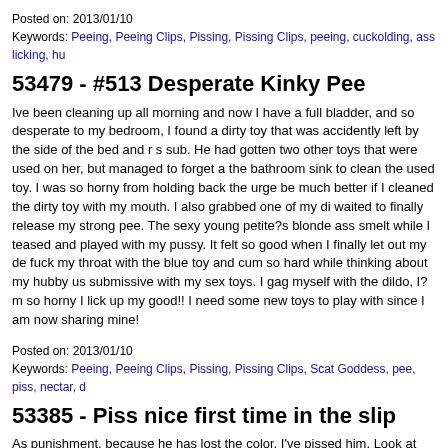Posted on: 2013/01/10
Keywords: Peeing, Peeing Clips, Pissing, Pissing Clips, peeing, cuckolding, ass licking, hu...
53479 - #513 Desperate Kinky Pee
Ive been cleaning up all morning and now I have a full bladder, and so desperate to... my bedroom, I found a dirty toy that was accidently left by the side of the bed and r... s sub. He had gotten two other toys that were used on her, but managed to forget a... the bathroom sink to clean the used toy. I was so horny from holding back the urge... be much better if I cleaned the dirty toy with my mouth. I also grabbed one of my di... waited to finally release my strong pee. The sexy young petite?s blonde ass smelt ... while I teased and played with my pussy. It felt so good when I finally let out my de... fuck my throat with the blue toy and cum so hard while thinking about my hubby us... submissive with my sex toys. I gag myself with the dildo, I?m so horny I lick up my ... good!! I need some new toys to play with since I am now sharing mine!
Posted on: 2013/01/10
Keywords: Peeing, Peeing Clips, Pissing, Pissing Clips, Scat Goddess, pee, piss, nectar, d...
53385 - Piss nice first time in the slip
As punishment, because he has lost the color, I've pissed him. Look at how my pee... the slip on my pussy .. In the next video I turn around and make AA.
Posted on: 2013/01/10
Keywords: Peeing, Peeing Clips, Pissing, Pissing Clips, Scatgirl, pissing, slip, bathroom, p...
53339 - Erica Pees Her Jeans
Erica hasn't peed for two days, thinking she might have a bladder infection she was... long and can't sit any longer!! She needs to pee so she drinks more and decides to... does she ever!!!